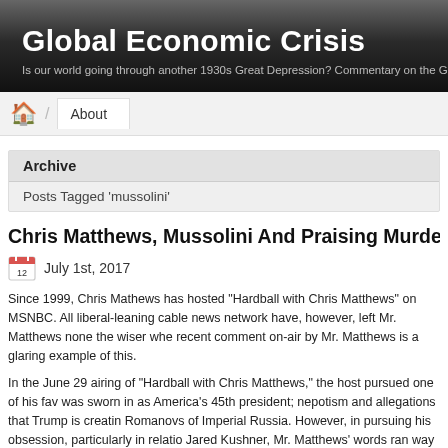Global Economic Crisis
Is our world going through another 1930s Great Depression? Commentary on the Global Eco...
About
Archive
Posts Tagged 'mussolini'
Chris Matthews, Mussolini And Praising Murder: MSNBC Host Trav...
July 1st, 2017
Since 1999, Chris Mathews has hosted "Hardball with Chris Matthews" on MSNBC. All liberal-leaning cable news network have, however, left Mr. Matthews none the wiser whe... recent comment on-air by Mr. Matthews is a glaring example of this.
In the June 29 airing of "Hardball with Chris Matthews," the host pursued one of his fav... was sworn in as America's 45th president; nepotism and allegations that Trump is creatin... Romanovs of Imperial Russia. However, in pursuing his obsession, particularly in relatio... Jared Kushner, Mr. Matthews' words ran way ahead of him. Referring to Kushner, Mr. M... you know, one good thing Mussolini did was execute his son-in-law."
Really?